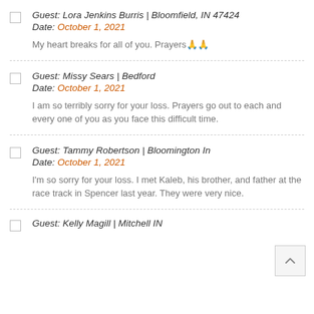Guest: Lora Jenkins Burris | Bloomfield, IN 47424
Date: October 1, 2021
My heart breaks for all of you. Prayers🙏🙏
Guest: Missy Sears | Bedford
Date: October 1, 2021
I am so terribly sorry for your loss. Prayers go out to each and every one of you as you face this difficult time.
Guest: Tammy Robertson | Bloomington In
Date: October 1, 2021
I'm so sorry for your loss. I met Kaleb, his brother, and father at the race track in Spencer last year. They were very nice.
Guest: Kelly Magill | Mitchell IN